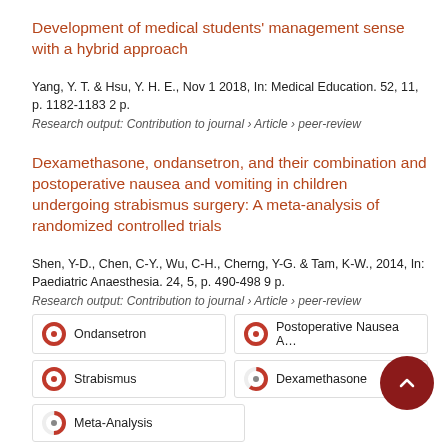Development of medical students' management sense with a hybrid approach
Yang, Y. T. & Hsu, Y. H. E., Nov 1 2018, In: Medical Education. 52, 11, p. 1182-1183 2 p.
Research output: Contribution to journal › Article › peer-review
Dexamethasone, ondansetron, and their combination and postoperative nausea and vomiting in children undergoing strabismus surgery: A meta-analysis of randomized controlled trials
Shen, Y-D., Chen, C-Y., Wu, C-H., Cherng, Y-G. & Tam, K-W., 2014, In: Paediatric Anaesthesia. 24, 5, p. 490-498 9 p.
Research output: Contribution to journal › Article › peer-review
[Figure (infographic): Six keyword badge cells: Ondansetron (100% donut), Postoperative Nausea A... (100% donut), Strabismus (100% donut), Dexamethasone (60% donut), Meta-Analysis (50% donut)]